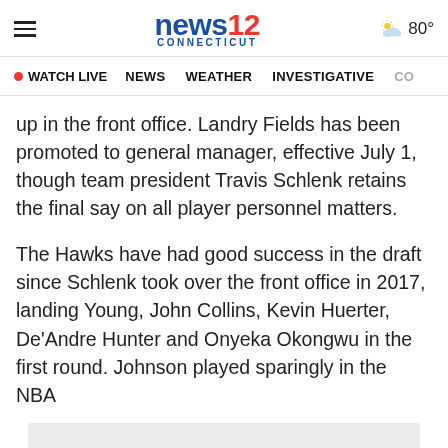news12 CONNECTICUT | 80°
• WATCH LIVE  NEWS  WEATHER  INVESTIGATIVE  CO
up in the front office. Landry Fields has been promoted to general manager, effective July 1, though team president Travis Schlenk retains the final say on all player personnel matters.
The Hawks have had good success in the draft since Schlenk took over the front office in 2017, landing Young, John Collins, Kevin Huerter, De'Andre Hunter and Onyeka Okongwu in the first round. Johnson played sparingly in the NBA